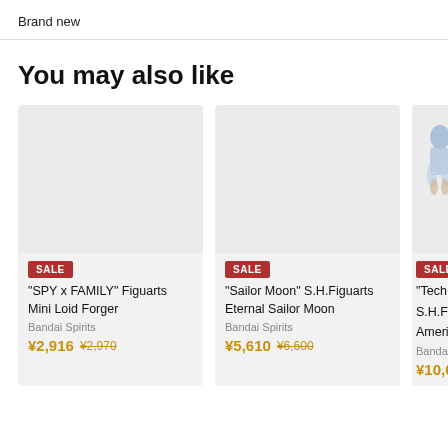Brand new
You may also like
[Figure (other): Product card for 'SPY x FAMILY' Figuarts Mini Loid Forger by Bandai Spirits, on sale for ¥2,916 (original ¥2,970)]
[Figure (other): Product card for 'Sailor Moon' S.H.Figuarts Eternal Sailor Moon by Bandai Spirits, on sale for ¥5,610 (original ¥6,600)]
[Figure (other): Partial product card for 'Tech...' S.H.Figuarts America... by Bandai..., on sale for ¥10,0...]